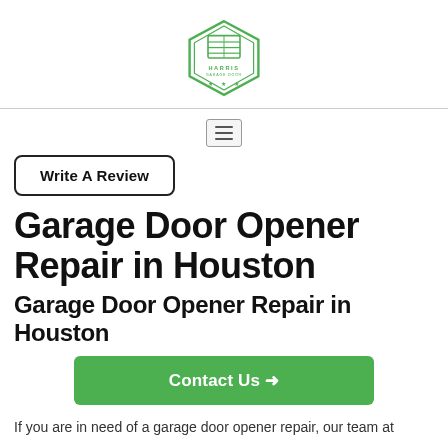[Figure (logo): Harris Garage Door hexagon logo in green outline with garage door icon and stars]
[Figure (other): Hamburger/menu icon button]
Write A Review
Garage Door Opener Repair in Houston
Garage Door Opener Repair in Houston
Contact Us →
If you are in need of a garage door opener repair, our team at